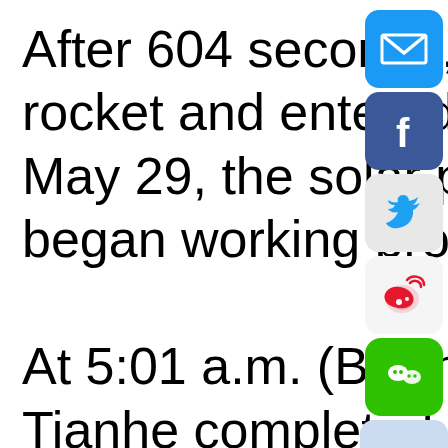After 604 seconds, Tianzho... rocket and entered its desig... May 29, the solar panels of... began working properly. At 5:01 a.m. (Beijing Time)... Tianhe completed compute... and docking. The whole pro... eight hours. Combined with Tianhe, Ti...
[Figure (infographic): Social media sharing buttons bar on the right side: email (blue), Facebook (dark blue), Twitter (light grey with bird), Weibo (white with red logo), WeChat (green), and a share/link button (light blue)]